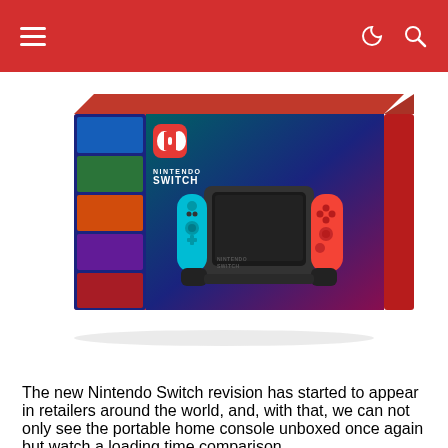Navigation bar with hamburger menu and icons
[Figure (photo): Nintendo Switch product box showing the console with neon blue and red Joy-Con controllers on a red background box]
The new Nintendo Switch revision has started to appear in retailers around the world, and, with that, we can not only see the portable home console unboxed once again but watch a loading time comparison